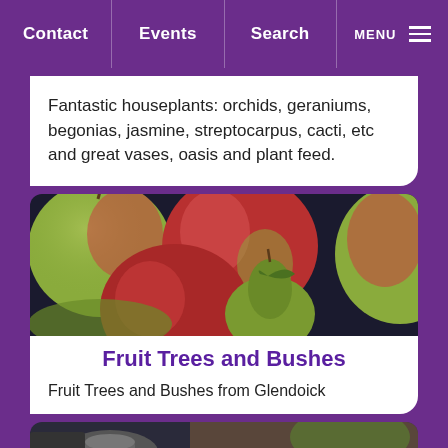Contact | Events | Search | MENU
Fantastic houseplants: orchids, geraniums, begonias, jasmine, streptocarpus, cacti, etc and great vases, oasis and plant feed.
[Figure (photo): Close-up photo of red and green apples and a pear clustered together on a dark background]
Fruit Trees and Bushes
Fruit Trees and Bushes from Glendoick
[Figure (photo): Partial bottom strip showing what appears to be pots or garden items]